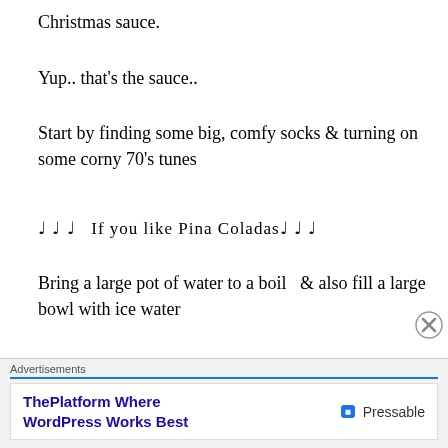Christmas sauce.
Yup.. that's the sauce..
Start by finding some big, comfy socks & turning on some corny 70's tunes
♩ ♩ ♩  If you like Pina Coladas♩ ♩ ♩
Bring a large pot of water to a boil  & also fill a large bowl with ice water
♩ ♩  Getting caught in the rain ♩ ♩ ♩ ♩
[Figure (photo): Photo of a decorative bowl or dish with food, red and floral pattern visible]
Advertisements
ThePlatform Where WordPress Works Best  — Pressable